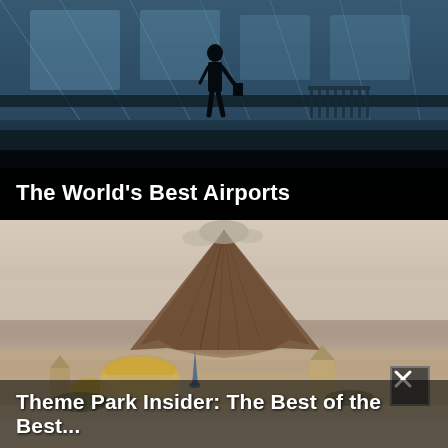[Figure (photo): Airport interior with glass walls and silhouette of a person walking, reflective dark floor, luggage trolleys visible in background, blue-tinted lighting]
The World's Best Airports
[Figure (photo): Large volcanic mountain or artificial volcano at a theme park, with ornate castle-like buildings with domed roofs at the base, hazy sky background]
Theme Park Insider: The Best of the Best...